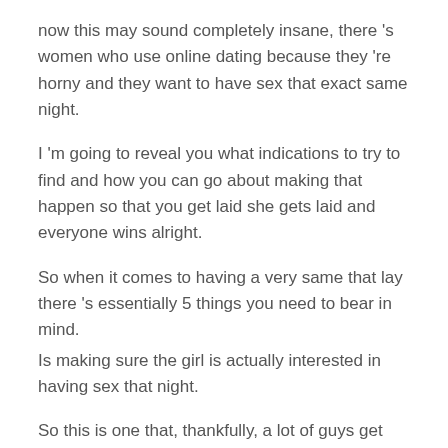now this may sound completely insane, there 's women who use online dating because they 're horny and they want to have sex that exact same night.
I 'm going to reveal you what indications to try to find and how you can go about making that happen so that you get laid she gets laid and everyone wins alright.
So when it comes to having a very same that lay there 's essentially 5 things you need to bear in mind.
Is making sure the girl is actually interested in having sex that night.
So this is one that, thankfully, a lot of guys get wrong.
They either stopped working to pick up on the signs of the ladies providing and they continue to small talk and banter to no end or perhaps they set up a date a week from now and then the lady goes out and discovers another guy that night and then She 's no